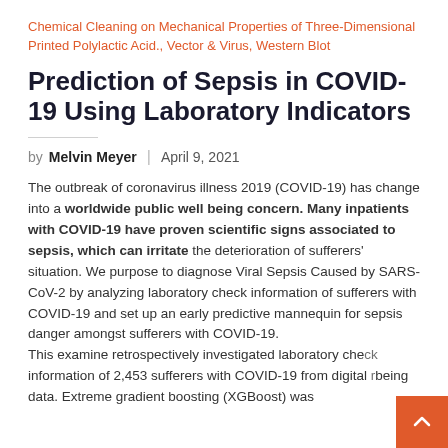Chemical Cleaning on Mechanical Properties of Three-Dimensional Printed Polylactic Acid., Vector & Virus, Western Blot
Prediction of Sepsis in COVID-19 Using Laboratory Indicators
by Melvin Meyer | April 9, 2021
The outbreak of coronavirus illness 2019 (COVID-19) has change into a worldwide public well being concern. Many inpatients with COVID-19 have proven scientific signs associated to sepsis, which can irritate the deterioration of sufferers' situation. We purpose to diagnose Viral Sepsis Caused by SARS-CoV-2 by analyzing laboratory check information of sufferers with COVID-19 and set up an early predictive mannequin for sepsis danger amongst sufferers with COVID-19.
This examine retrospectively investigated laboratory check information of 2,453 sufferers with COVID-19 from digital being data. Extreme gradient boosting (XGBoost) was